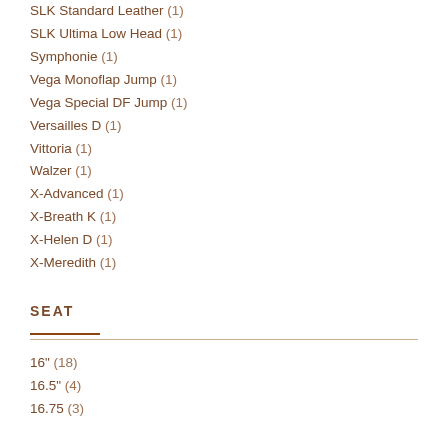SLK Standard Leather (1)
SLK Ultima Low Head (1)
Symphonie (1)
Vega Monoflap Jump (1)
Vega Special DF Jump (1)
Versailles D (1)
Vittoria (1)
Walzer (1)
X-Advanced (1)
X-Breath K (1)
X-Helen D (1)
X-Meredith (1)
SEAT
16" (18)
16.5" (4)
16.75 (3)